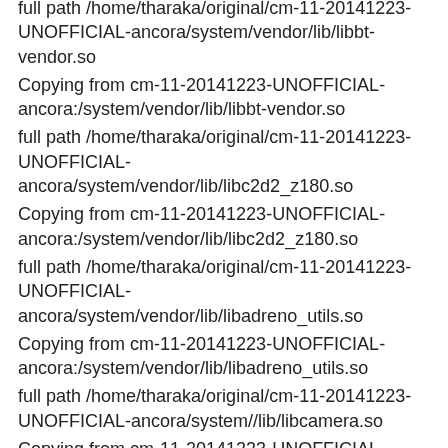full path /home/tharaka/original/cm-11-20141223-UNOFFICIAL-ancora/system/vendor/lib/libbt-vendor.so
Copying from cm-11-20141223-UNOFFICIAL-ancora:/system/vendor/lib/libbt-vendor.so
full path /home/tharaka/original/cm-11-20141223-UNOFFICIAL-ancora/system/vendor/lib/libc2d2_z180.so
Copying from cm-11-20141223-UNOFFICIAL-ancora:/system/vendor/lib/libc2d2_z180.so
full path /home/tharaka/original/cm-11-20141223-UNOFFICIAL-ancora/system/vendor/lib/libadreno_utils.so
Copying from cm-11-20141223-UNOFFICIAL-ancora:/system/vendor/lib/libadreno_utils.so
full path /home/tharaka/original/cm-11-20141223-UNOFFICIAL-ancora/system//lib/libcamera.so
Copying from cm-11-20141223-UNOFFICIAL-ancora:/system//lib/libcamera.so
full path /home/tharaka/original/cm-11-20141223-